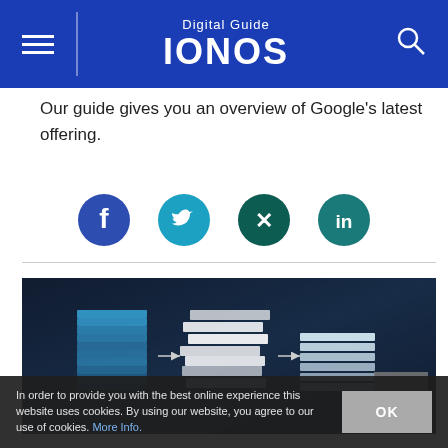Digital Guide IONOS
Our guide gives you an overview of Google's latest offering.
[Figure (illustration): Four social media icon buttons: Facebook (dark blue circle with f), Twitter (cyan circle with bird), XING (dark teal circle with X), LinkedIn (teal circle with in)]
[Figure (photo): Photo of a businessman in a suit with a data migration diagram showing stacked server icons connected by arrows to stacked document layers, on a dark background]
In order to provide you with the best online experience this website uses cookies. By using our website, you agree to our use of cookies. More Info.